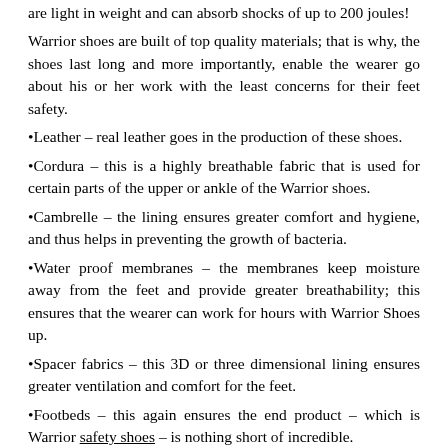are light in weight and can absorb shocks of up to 200 joules!
Warrior shoes are built of top quality materials; that is why, the shoes last long and more importantly, enable the wearer go about his or her work with the least concerns for their feet safety.
•Leather – real leather goes in the production of these shoes.
•Cordura – this is a highly breathable fabric that is used for certain parts of the upper or ankle of the Warrior shoes.
•Cambrelle – the lining ensures greater comfort and hygiene, and thus helps in preventing the growth of bacteria.
•Water proof membranes – the membranes keep moisture away from the feet and provide greater breathability; this ensures that the wearer can work for hours with Warrior Shoes up.
•Spacer fabrics – this 3D or three dimensional lining ensures greater ventilation and comfort for the feet.
•Footbeds – this again ensures the end product – which is Warrior safety shoes – is nothing short of incredible.
Warrior is a product of years of research & development and a commitment to make working life simpler, especially for those who work under adverse conditions. For detailed information on